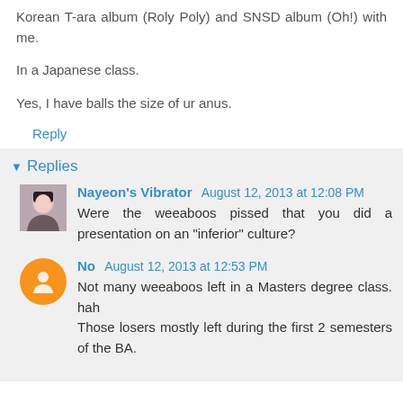Korean T-ara album (Roly Poly) and SNSD album (Oh!) with me.
In a Japanese class.
Yes, I have balls the size of ur anus.
Reply
Replies
Nayeon's Vibrator August 12, 2013 at 12:08 PM
Were the weeaboos pissed that you did a presentation on an "inferior" culture?
No August 12, 2013 at 12:53 PM
Not many weeaboos left in a Masters degree class. hah
Those losers mostly left during the first 2 semesters of the BA.